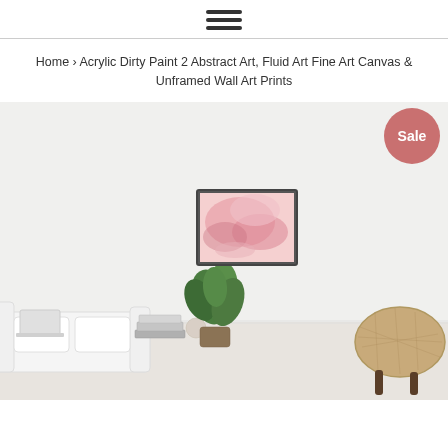≡ (hamburger menu icon)
Home › Acrylic Dirty Paint 2 Abstract Art, Fluid Art Fine Art Canvas & Unframed Wall Art Prints
[Figure (photo): Product page image showing a framed pink abstract fluid art print hanging on a white wall in a styled living room scene, with a green plant, white sofa, books, decorative objects, and a wicker chair. A red-pink circular 'Sale' badge appears in the upper right corner of the image.]